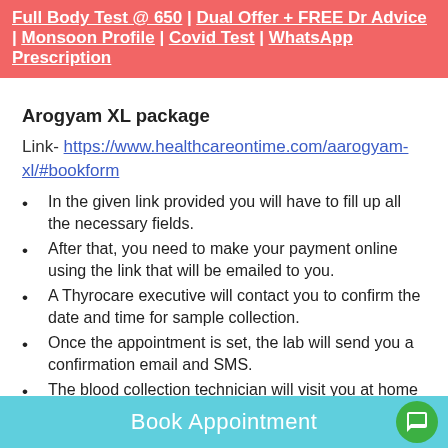Full Body Test @ 650 | Dual Offer + FREE Dr Advice | Monsoon Profile | Covid Test | WhatsApp Prescription
Arogyam XL package
Link- https://www.healthcareontime.com/aarogyam-xl/#bookform
In the given link provided you will have to fill up all the necessary fields.
After that, you need to make your payment online using the link that will be emailed to you.
A Thyrocare executive will contact you to confirm the date and time for sample collection.
Once the appointment is set, the lab will send you a confirmation email and SMS.
The blood collection technician will visit you at home or at work.
Test results will be delivered to you within 48 to 72 hours.
Also, note that-
Book Appointment